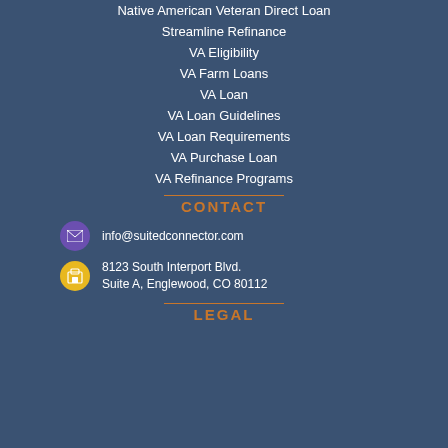Native American Veteran Direct Loan
Streamline Refinance
VA Eligibility
VA Farm Loans
VA Loan
VA Loan Guidelines
VA Loan Requirements
VA Purchase Loan
VA Refinance Programs
CONTACT
info@suitedconnector.com
8123 South Interport Blvd. Suite A, Englewood, CO 80112
LEGAL